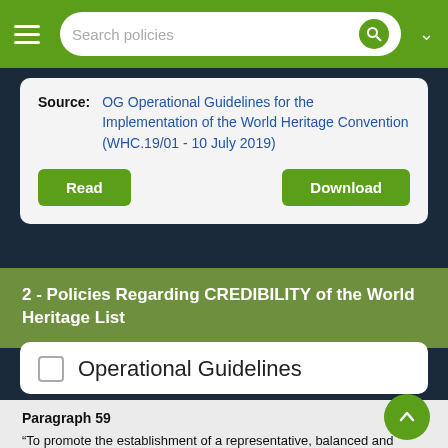Search policies
Source: OG Operational Guidelines for the Implementation of the World Heritage Convention (WHC.19/01 - 10 July 2019)
Read | Download
2 - Policies Regarding CREDIBILITY of the World Heritage List
Operational Guidelines
Paragraph 59
“To promote the establishment of a representative, balanced and credible World Heritage List, States Parties are requested to consider whether their heritage is already